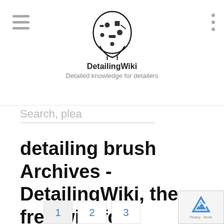DetailingWiki - Detailed knowledge for detailers
Search, plea
detailing brush Archives - DetailingWiki, the free wiki for detailers
Miscellaneous detailing related content
1   2   3